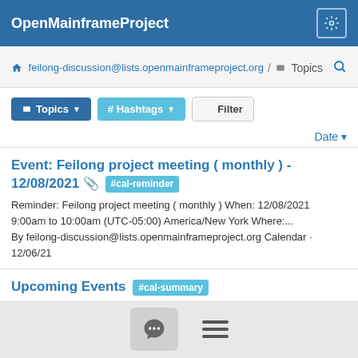OpenMainframeProject
feilong-discussion@lists.openmainframeproject.org / Topics
Topics  # Hashtags  Filter
Date
Event: Feilong project meeting ( monthly ) - 12/08/2021 📎 #cal-reminder
Reminder: Feilong project meeting ( monthly ) When: 12/08/2021 9:00am to 10:00am (UTC-05:00) America/New York Where:... By feilong-discussion@lists.openmainframeproject.org Calendar · 12/06/21
Upcoming Events #cal-summary